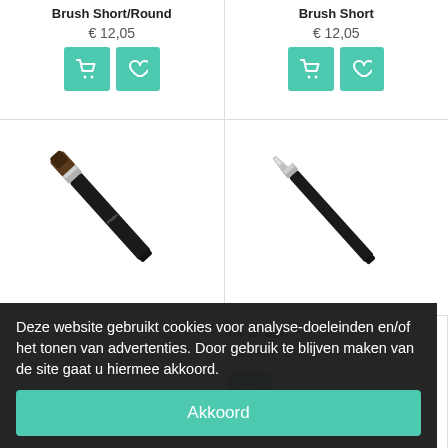Brush Short/Round
€ 12,05
Brush Short
€ 12,05
[Figure (photo): Makeup brush with dark bristles and black handle, diagonal orientation]
[Figure (photo): Thin makeup brush with black handle, diagonal orientation]
ne Brush
33
Deze website gebruikt cookies voor analyse-doeleinden en/of het tonen van advertenties. Door gebruik te blijven maken van de site gaat u hiermee akkoord.
Akkoord